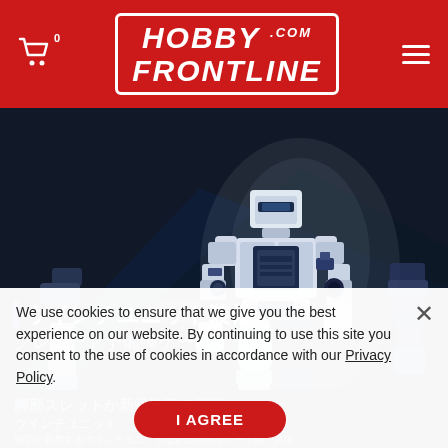HOBBY FRONTLINE .COM
[Figure (photo): Gundam/mecha model kit figure in white and dark grey/black color scheme, shown from multiple angles on dark background. The robot figure is posing with a rifle weapon accessory.]
ウインチユニット装備、
グレネード予備弾ケース、
脚部スレットか新規造形で再現
ウインチユニット
脚部に装着するウインチユニットは射出状態をリード線で再現
⊿強化仕様のアンカーパーツも付属。
We use cookies to ensure that we give you the best experience on our website. By continuing to use this site you consent to the use of cookies in accordance with our Privacy Policy.
I AGREE